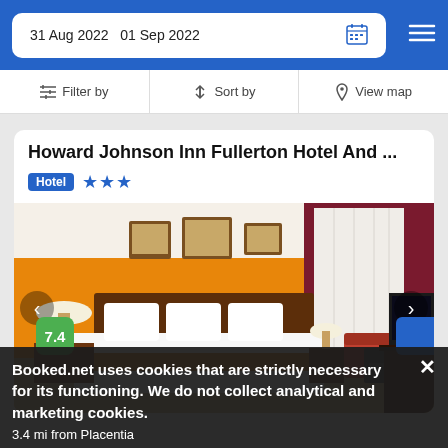31 Aug 2022  01 Sep 2022
Filter by   Sort by   View map
Howard Johnson Inn Fullerton Hotel And ...
Hotel  ★★★
[Figure (photo): Hotel room with orange walls, king bed with white linens and orange accent stripe, wooden headboard, bedside lamps, red/orange sofa, white curtains, office chair, and flat screen TV on a dark wood desk.]
Booked.net uses cookies that are strictly necessary for its functioning. We do not collect analytical and marketing cookies.
3.4 mi from Placentia